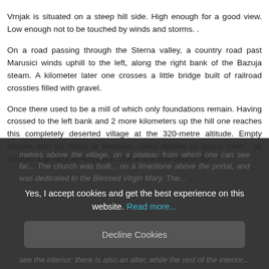Vrnjak is situated on a steep hill side. High enough for a good view. Low enough not to be touched by winds and storms. .
On a road passing through the Sterna valley, a country road past Marusici winds uphill to the left, along the right bank of the Bazuja steam. A kilometer later one crosses a little bridge built of railroad crossties filled with gravel.
Once there used to be a mill of which only foundations remain. Having crossed to the left bank and 2 more kilometers up the hill one reaches this completely deserted village at the 320-metre altitude. Empty houses with no doors or windows, lanes hidden by locust trees - all creates a gloomy atmosphere. There is a little church 50
metres above the village, on a plateau from which one can see far... The church was built... on a limestone above the portal, and was dedicated to the Blessed Virgin Mary. The...
Yes, I accept cookies and get the best experience on this website. Read more...
Decline Cookies
see the interior: there is also an alter, while the rest of the interior...